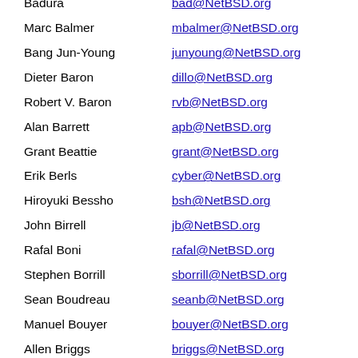Badura — bad@NetBSD.org
Marc Balmer — mbalmer@NetBSD.org
Bang Jun-Young — junyoung@NetBSD.org
Dieter Baron — dillo@NetBSD.org
Robert V. Baron — rvb@NetBSD.org
Alan Barrett — apb@NetBSD.org
Grant Beattie — grant@NetBSD.org
Erik Berls — cyber@NetBSD.org
Hiroyuki Bessho — bsh@NetBSD.org
John Birrell — jb@NetBSD.org
Rafal Boni — rafal@NetBSD.org
Stephen Borrill — sborrill@NetBSD.org
Sean Boudreau — seanb@NetBSD.org
Manuel Bouyer — bouyer@NetBSD.org
Allen Briggs — briggs@NetBSD.org
Mark …